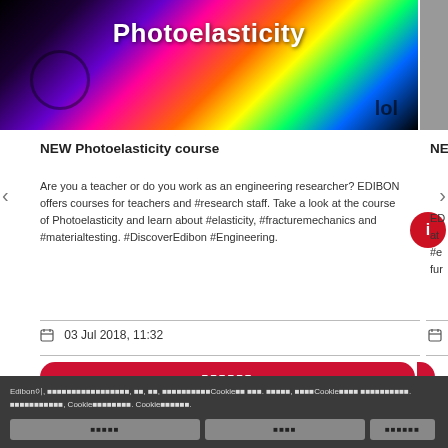[Figure (photo): Photoelasticity colorful interference pattern image with text 'Photoelasticity' overlaid in white]
NEW Photoelasticity course
Are you a teacher or do you work as an engineering researcher? EDIBON offers courses for teachers and #research staff. Take a look at the course of Photoelasticity and learn about #elasticity, #fracturemechanics and #materialtesting. #DiscoverEdibon #Engineering.
03 Jul 2018, 11:32
■■■■■■
Edibon이, ■■■■■■■■■■■■■■■■■■, ■■, ■■, ■■■■■■■■■■■Cookie■■ ■■■. ■■■■■■, ■■■■Cookie■■■■ ■■■■■■■■■■■. ■■■■■■■■■■■, Cookie■■■■■■■■■■. Cookie■■■■■■.
■■■■■ | ■■■■ | ■■■■■■